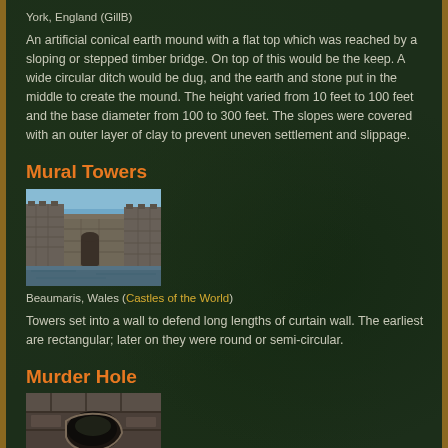York, England (GillB)
An artificial conical earth mound with a flat top which was reached by a sloping or stepped timber bridge. On top of this would be the keep. A wide circular ditch would be dug, and the earth and stone put in the middle to create the mound. The height varied from 10 feet to 100 feet and the base diameter from 100 to 300 feet. The slopes were covered with an outer layer of clay to prevent uneven settlement and slippage.
Mural Towers
[Figure (photo): Photo of Beaumaris Castle, Wales, showing stone towers and walls reflected in water]
Beaumaris, Wales (Castles of the World)
Towers set into a wall to defend long lengths of curtain wall. The earliest are rectangular; later on they were round or semi-circular.
Murder Hole
[Figure (photo): Close-up photo of a murder hole (opening in ceiling) in a medieval castle]